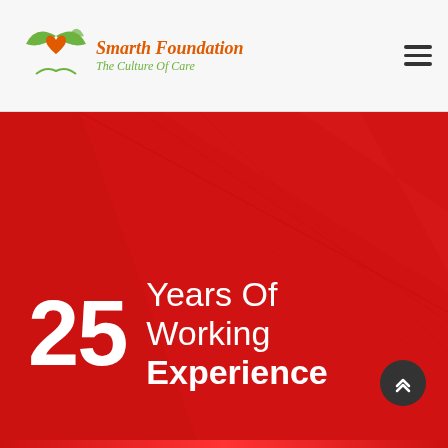Smarth Foundation — The Culture Of Care
[Figure (illustration): Red background section with diagonal geometric lines/shapes creating depth, with large white text reading '25 Years Of Working Experience']
25 Years Of Working Experience